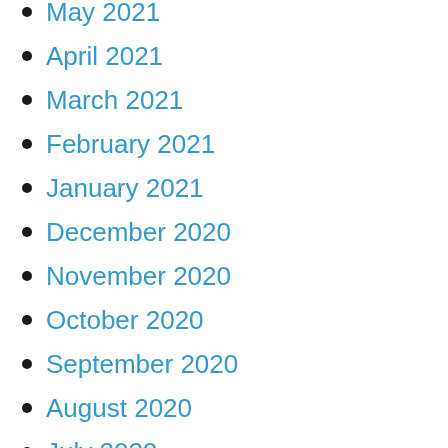May 2021
April 2021
March 2021
February 2021
January 2021
December 2020
November 2020
October 2020
September 2020
August 2020
July 2020
March 2020
February 2020
January 2020
December 2019
November 2019
October 2019